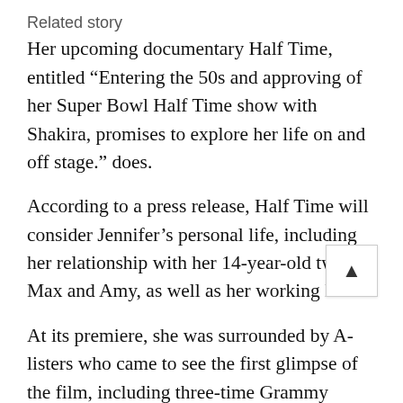Related story
Her upcoming documentary Half Time, entitled “Entering the 50s and approving of her Super Bowl Half Time show with Shakira, promises to explore her life on and off stage.” does.
According to a press release, Half Time will consider Jennifer’s personal life, including her relationship with her 14-year-old twins Max and Amy, as well as her working life.
At its premiere, she was surrounded by A-listers who came to see the first glimpse of the film, including three-time Grammy Award winner Lin-Manuel Miranda, Ryan Seacrest, and many more.
New Jersey star Melissa Gorga’s real housewife and husband Joe also attended the star-studded premiere on